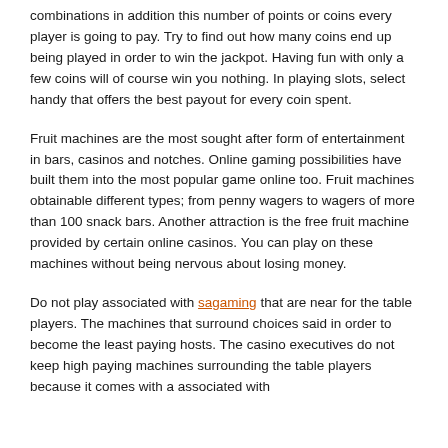combinations in addition this number of points or coins every player is going to pay. Try to find out how many coins end up being played in order to win the jackpot. Having fun with only a few coins will of course win you nothing. In playing slots, select handy that offers the best payout for every coin spent.
Fruit machines are the most sought after form of entertainment in bars, casinos and notches. Online gaming possibilities have built them into the most popular game online too. Fruit machines obtainable different types; from penny wagers to wagers of more than 100 snack bars. Another attraction is the free fruit machine provided by certain online casinos. You can play on these machines without being nervous about losing money.
Do not play associated with sagaming that are near for the table players. The machines that surround choices said in order to become the least paying hosts. The casino executives do not keep high paying machines surrounding the table players because it comes with a associated with